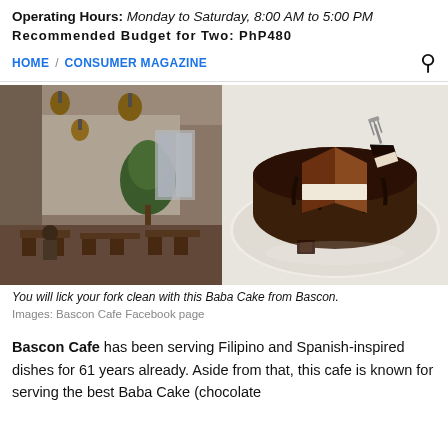Operating Hours: Monday to Saturday, 8:00 AM to 5:00 PM
[truncated line]
HOME / CONSUMER MAGAZINE
[Figure (photo): Left: interior of Bascon Cafe with pendant lights, a tree, wooden furniture and a customer seated. Right: a rich chocolate Baba Cake with a slice cut out on a white plate.]
You will lick your fork clean with this Baba Cake from Bascon.
Images: Bascon Cafe Facebook page
Bascon Cafe has been serving Filipino and Spanish-inspired dishes for 61 years already. Aside from that, this cafe is known for serving the best Baba Cake (chocolate